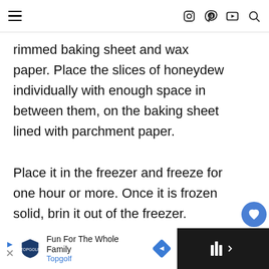[Navigation bar with hamburger menu and icons: Instagram, Pinterest, YouTube, Search]
rimmed baking sheet and wax paper. Place the slices of honeydew individually with enough space in between them, on the baking sheet lined with parchment paper.

Place it in the freezer and freeze for one hour or more. Once it is frozen solid, bring it out of the freezer.
Ad: Fun For The Whole Family — Topgolf